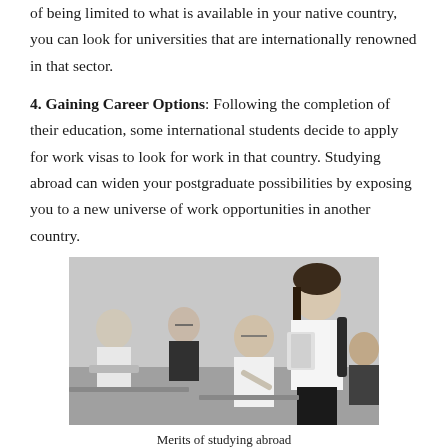of being limited to what is available in your native country, you can look for universities that are internationally renowned in that sector.
4. Gaining Career Options: Following the completion of their education, some international students decide to apply for work visas to look for work in that country. Studying abroad can widen your postgraduate possibilities by exposing you to a new universe of work opportunities in another country.
[Figure (photo): Black and white photo of university students in a classroom setting, with a female student standing in the foreground holding books and a backpack, and other students seated at desks in the background.]
Merits of studying abroad